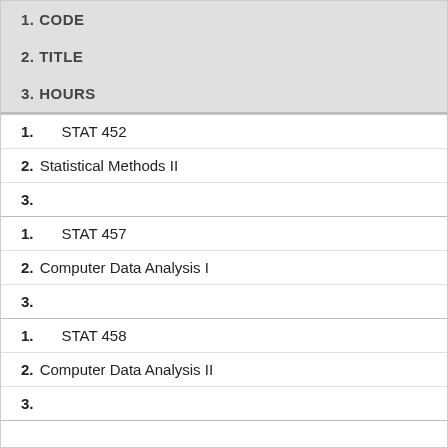| 1. CODE | 2. TITLE | 3. HOURS |
| --- | --- | --- |
| STAT 452 | Statistical Methods II |  |
| STAT 457 | Computer Data Analysis I |  |
| STAT 458 | Computer Data Analysis II |  |